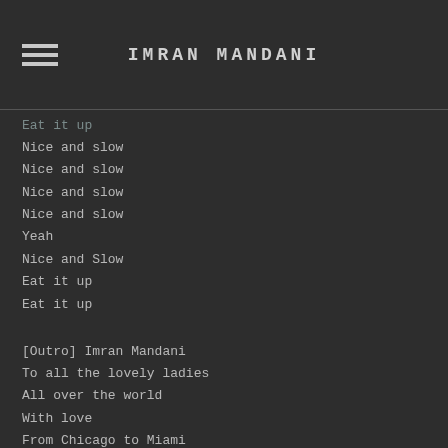IMRAN MANDANI
Eat it up
Nice and slow
Nice and slow
Nice and slow
Nice and slow
Yeah
Nice and Slow
Eat it up
Eat it up
[Outro] Imran Mandani
To all the lovely ladies
All over the world
With love
From Chicago to Miami